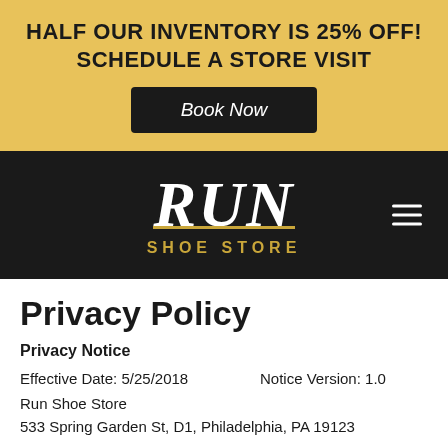[Figure (infographic): Yellow promotional banner with bold text 'HALF OUR INVENTORY IS 25% OFF! SCHEDULE A STORE VISIT' and a dark 'Book Now' button]
[Figure (logo): Run Shoe Store logo on dark background with white italic serif RUN text and gold 'SHOE STORE' subtitle, plus hamburger menu icon]
Privacy Policy
Privacy Notice
Effective Date: 5/25/2018   Notice Version: 1.0
Run Shoe Store
533 Spring Garden St, D1, Philadelphia, PA 19123